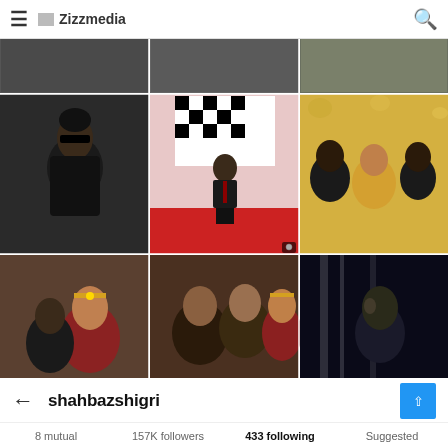≡  Zizzmedia  🔍
[Figure (photo): 3x3 grid of Instagram photos showing a Pakistani celebrity (shahbazshigri). Top partial row: dark portrait left, dark background center, floral/festive right. Middle row: man in black suit and sunglasses left, man in dark suit on red carpet center, group of three people right. Bottom row: couple at wedding left, wedding group center, dark moody portrait right.]
← shahbazshigri
8 mutual   157K followers   433 following   Suggested